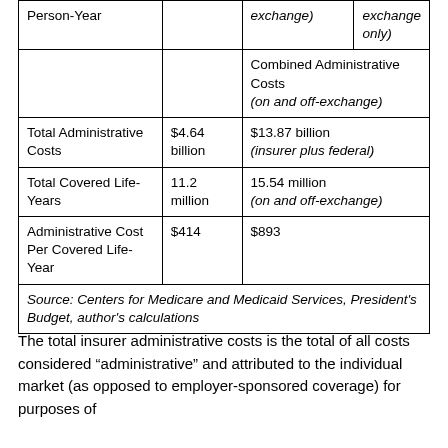|  |  | Combined Administrative Costs (on and off-exchange) |  |
| --- | --- | --- | --- |
| Total Administrative Costs | $4.64 billion | $13.87 billion (insurer plus federal) |  |
| Total Covered Life-Years | 11.2 million | 15.54 million (on and off-exchange) |  |
| Administrative Cost Per Covered Life-Year | $414 | $893 |  |
| Source: Centers for Medicare and Medicaid Services, President's Budget, author's calculations |  |  |  |
The total insurer administrative costs is the total of all costs considered “administrative” and attributed to the individual market (as opposed to employer-sponsored coverage) for purposes of